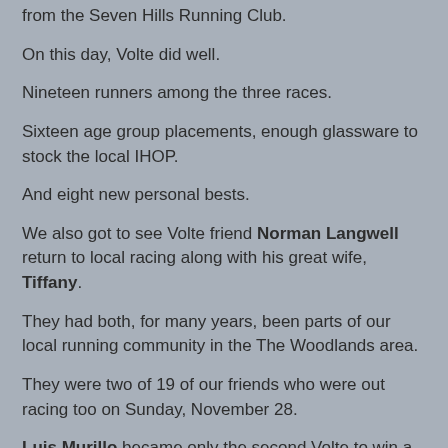from the Seven Hills Running Club.
On this day, Volte did well.
Nineteen runners among the three races.
Sixteen age group placements, enough glassware to stock the local IHOP.
And eight new personal bests.
We also got to see Volte friend Norman Langwell return to local racing along with his great wife, Tiffany.
They had both, for many years, been parts of our local running community in the The Woodlands area.
They were two of 19 of our friends who were out racing too on Sunday, November 28.
Luis Murillo became only the second Volte to win a Texas 10 Series 5K - joining eight-time winner Brayden Park - with the fastest time of the 2021-2022 Texas 10 Series, 17:26.